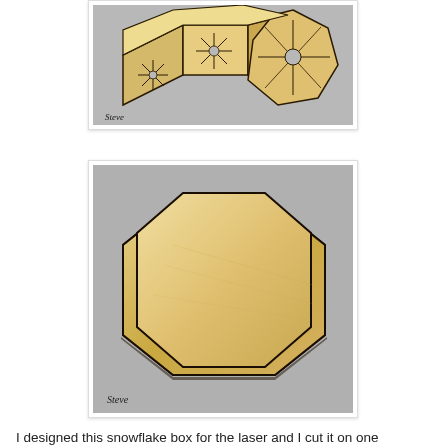[Figure (photo): Photograph of a laser-cut wooden snowflake box with hexagonal sides decorated with snowflake cutout patterns, shown with the lid partially open. The wood is light birch plywood with dark laser-burned edges.]
[Figure (photo): Photograph of two stacked octagonal wooden panels (laser-cut lid pieces) made from light birch plywood, shown on a grey background. The pieces show clean edges from laser cutting.]
I designed this snowflake box for the laser and I cut it on one